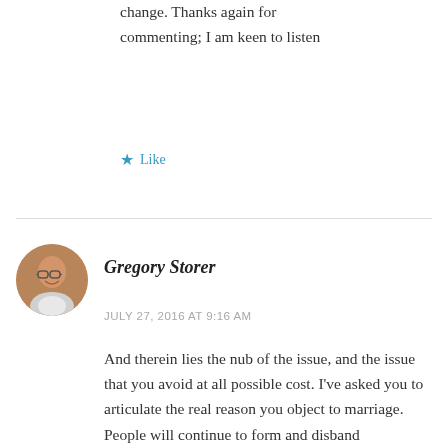change. Thanks again for commenting; I am keen to listen
★ Like
Gregory Storer
JULY 27, 2016 AT 9:16 AM
And therein lies the nub of the issue, and the issue that you avoid at all possible cost. I've asked you to articulate the real reason you object to marriage.
People will continue to form and disband